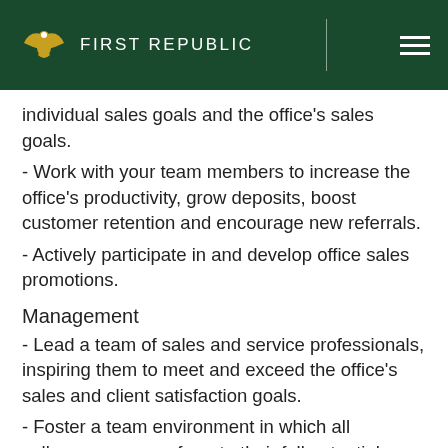First Republic
individual sales goals and the office's sales goals.
- Work with your team members to increase the office's productivity, grow deposits, boost customer retention and encourage new referrals.
- Actively participate in and develop office sales promotions.
Management
- Lead a team of sales and service professionals, inspiring them to meet and exceed the office's sales and client satisfaction goals.
- Foster a team environment in which all colleagues can perform to their full potential.
- Supervise and coach your teams to help them enhance their professionalism, strengthen their